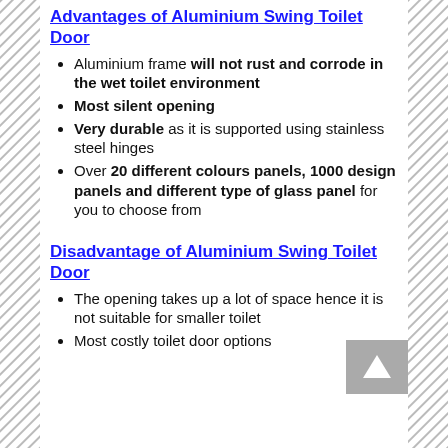Advantages of Aluminium Swing Toilet Door
Aluminium frame will not rust and corrode in the wet toilet environment
Most silent opening
Very durable as it is supported using stainless steel hinges
Over 20 different colours panels, 1000 design panels and different type of glass panel for you to choose from
Disadvantage of Aluminium Swing Toilet Door
The opening takes up a lot of space hence it is not suitable for smaller toilet
Most costly toilet door options